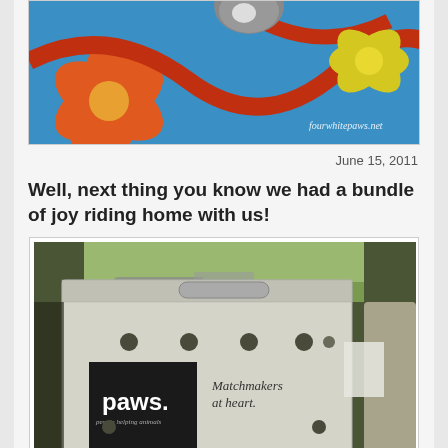[Figure (photo): A cat sitting on a colorful patterned rug with orange flowers and red/blue swirl design. Watermark reads 'fourwhitepaws.net' in the lower right corner.]
June 15, 2011
Well, next thing you know we had a bundle of joy riding home with us!
[Figure (photo): A white PAWS cardboard cat carrier box sitting in a car. The box has a black logo square reading 'paws. people helping animals' and text on the side reading 'Matchmakers at heart.' The box has circular ventilation holes.]